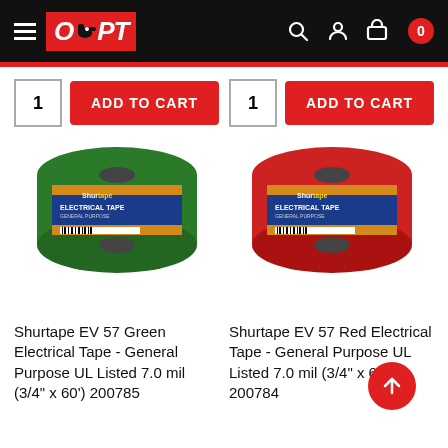[Figure (screenshot): OPT store navigation header with hamburger menu, OPT logo in red box with drill icon, search icon, account icon, cart icon with 0 badge]
[Figure (infographic): Two product add-to-cart rows side by side, each with quantity box showing 1 and red ADD TO CART button]
[Figure (photo): Shurtape EV 57 Green Electrical Tape roll product image]
[Figure (photo): Shurtape EV 57 Red Electrical Tape roll product image]
Shurtape EV 57 Green Electrical Tape - General Purpose UL Listed 7.0 mil (3/4" x 60') 200785
Shurtape EV 57 Red Electrical Tape - General Purpose UL Listed 7.0 mil (3/4" x 60') 200784